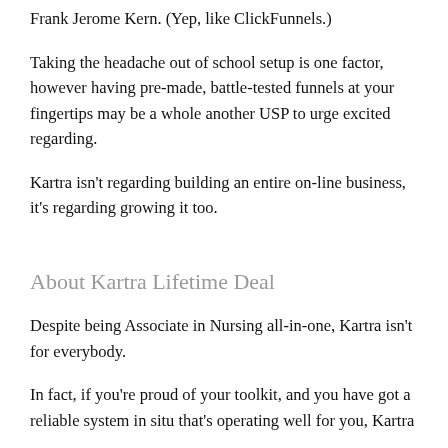Frank Jerome Kern. (Yep, like ClickFunnels.)
Taking the headache out of school setup is one factor, however having pre-made, battle-tested funnels at your fingertips may be a whole another USP to urge excited regarding.
Kartra isn't regarding building an entire on-line business, it's regarding growing it too.
About Kartra Lifetime Deal
Despite being Associate in Nursing all-in-one, Kartra isn't for everybody.
In fact, if you're proud of your toolkit, and you have got a reliable system in situ that's operating well for you, Kartra